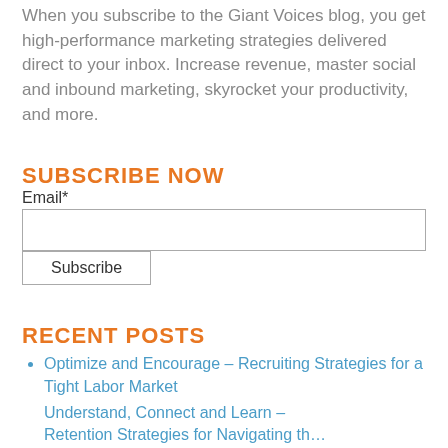When you subscribe to the Giant Voices blog, you get high-performance marketing strategies delivered direct to your inbox. Increase revenue, master social and inbound marketing, skyrocket your productivity, and more.
SUBSCRIBE NOW
Email*
RECENT POSTS
Optimize and Encourage – Recruiting Strategies for a Tight Labor Market
Understand, Connect and Learn – Retention Strategies for Navigating the...